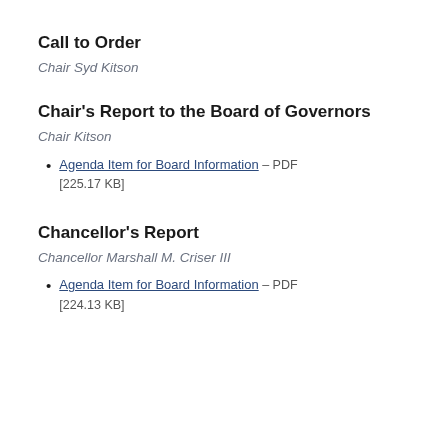Call to Order
Chair Syd Kitson
Chair's Report to the Board of Governors
Chair Kitson
Agenda Item for Board Information – PDF [225.17 KB]
Chancellor's Report
Chancellor Marshall M. Criser III
Agenda Item for Board Information – PDF [224.13 KB]